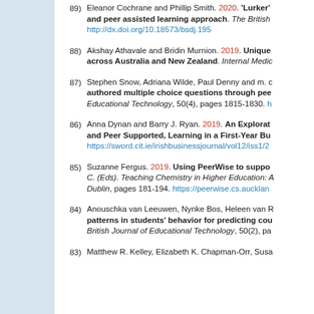89) Eleanor Cochrane and Phillip Smith. 2020. 'Lurker'... and peer assisted learning approach. The British... http://dx.doi.org/10.18573/bsdj.195
88) Akshay Athavale and Bridin Murnion. 2019. Unique... across Australia and New Zealand. Internal Medic...
87) Stephen Snow, Adriana Wilde, Paul Denny and m. c... authored multiple choice questions through pee... Educational Technology, 50(4), pages 1815-1830. h...
86) Anna Dynan and Barry J. Ryan. 2019. An Explorat... and Peer Supported, Learning in a First-Year Bu... https://sword.cit.ie/irishbusinessjournal/vol12/iss1/2
85) Suzanne Fergus. 2019. Using PeerWise to suppo... C. (Eds). Teaching Chemistry in Higher Education: A... Dublin, pages 181-194. https://peerwise.cs.aucklan...
84) Anouschka van Leeuwen, Nynke Bos, Heleen van R... patterns in students' behavior for predicting cou... British Journal of Educational Technology, 50(2), pa...
83) Matthew R. Kelley, Elizabeth K. Chapman-Orr, Susa...